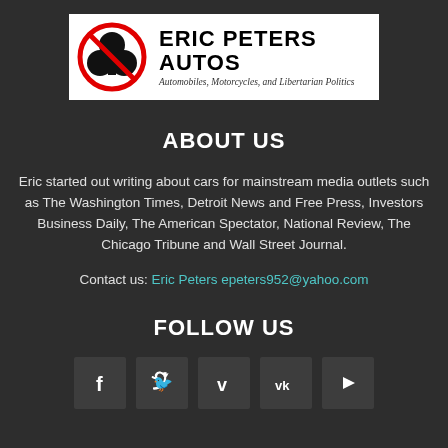[Figure (logo): Eric Peters Autos logo with a no-clover-symbol icon on the left and bold text 'ERIC PETERS AUTOS' with subtitle 'Automobiles, Motorcycles, and Libertarian Politics']
ABOUT US
Eric started out writing about cars for mainstream media outlets such as The Washington Times, Detroit News and Free Press, Investors Business Daily, The American Spectator, National Review, The Chicago Tribune and Wall Street Journal.
Contact us: Eric Peters epeters952@yahoo.com
FOLLOW US
[Figure (infographic): Row of 5 social media icon boxes: Facebook (f), Twitter (bird), Vimeo (v), VK (vk), YouTube (play button)]